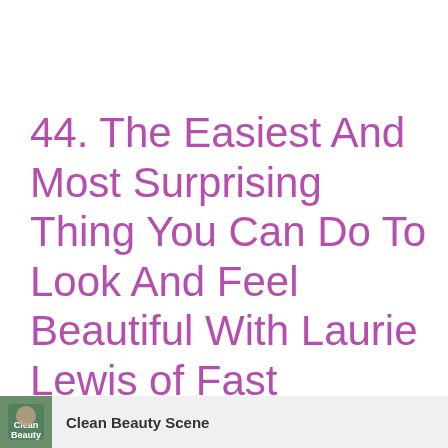44. The Easiest And Most Surprising Thing You Can Do To Look And Feel Beautiful With Laurie Lewis of Fast Forward Wellness
Clean Beauty Scene